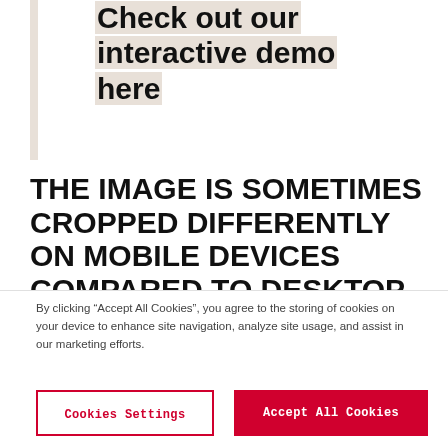Check out our interactive demo here
THE IMAGE IS SOMETIMES CROPPED DIFFERENTLY ON MOBILE DEVICES COMPARED TO DESKTOP
By clicking “Accept All Cookies”, you agree to the storing of cookies on your device to enhance site navigation, analyze site usage, and assist in our marketing efforts.
Cookies Settings
Accept All Cookies